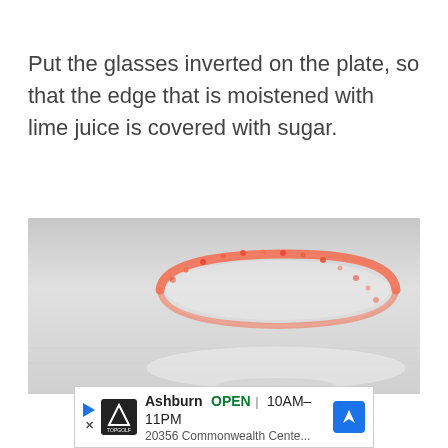Put the glasses inverted on the plate, so that the edge that is moistened with lime juice is covered with sugar.
[Figure (photo): An inverted cocktail glass with a red/orange sugar-rimmed edge, placed on a light grey surface. The glass rim is coated with pink/red granulated sugar crystals.]
Ashburn  OPEN  10AM–11PM  20356 Commonwealth Cente...